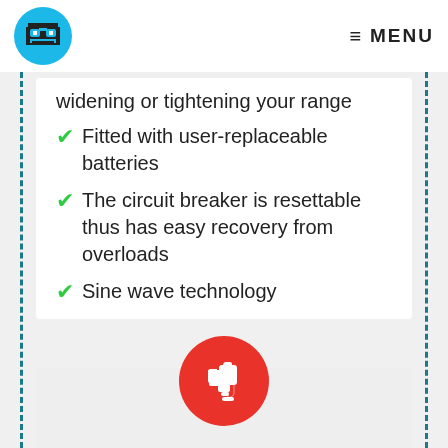MENU
widening or tightening your range
Fitted with user-replaceable batteries
The circuit breaker is resettable thus has easy recovery from overloads
Sine wave technology
[Figure (illustration): Red circle with white thumbs-down icon]